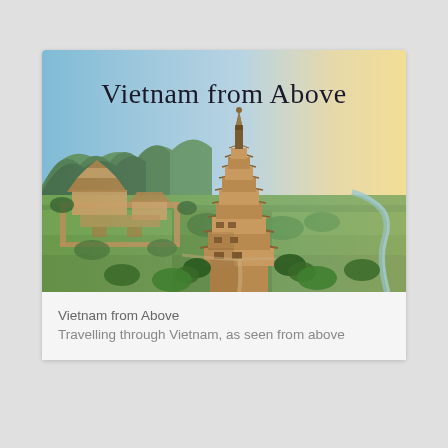[Figure (photo): Aerial drone photograph of a tall multi-tiered Vietnamese pagoda tower in the foreground, with a large temple complex, rice paddies, lush green hills/mountains, and a river winding through a flat landscape in the background. A warm golden sunrise glows on the right horizon. The text 'Vietnam from Above' is overlaid at the top center of the image in large serif font.]
Vietnam from Above
Travelling through Vietnam, as seen from above